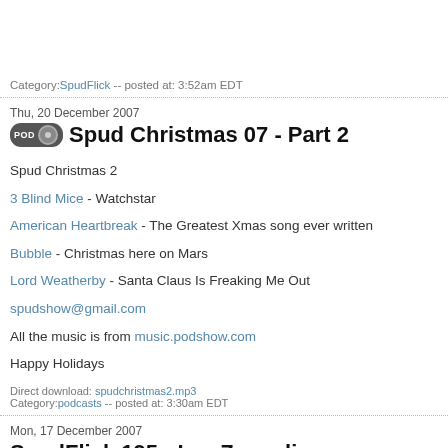Category:SpudFlick -- posted at: 3:52am EDT
Thu, 20 December 2007
Spud Christmas 07 - Part 2
Spud Christmas 2
3 Blind Mice - Watchstar
American Heartbreak - The Greatest Xmas song ever written
Bubble - Christmas here on Mars
Lord Weatherby - Santa Claus Is Freaking Me Out
spudshow@gmail.com
All the music is from music.podshow.com
Happy Holidays
Direct download: spudchristmas2.mp3
Category:podcasts -- posted at: 3:30am EDT
Mon, 17 December 2007
SpudFlick 195 - Lez Zeppelin